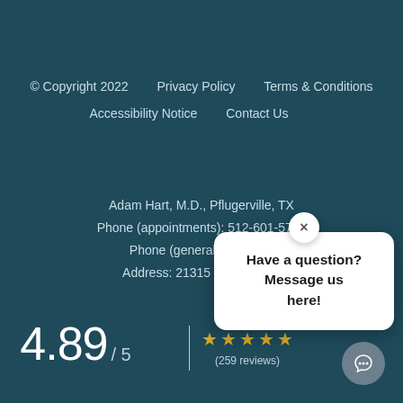© Copyright 2022     Privacy Policy     Terms & Conditions
Accessibility Notice     Contact Us
Adam Hart, M.D., Pflugerville, TX
Phone (appointments): 512-601-5743
Phone (general inqu...
Address: 21315 SH 130, #...
4.89 / 5  ★★★★★  (259 reviews)
[Figure (screenshot): Chat popup overlay with close button (×), showing message: 'Have a question? Message us here!' on white rounded card, and a circular chat icon button at bottom right.]